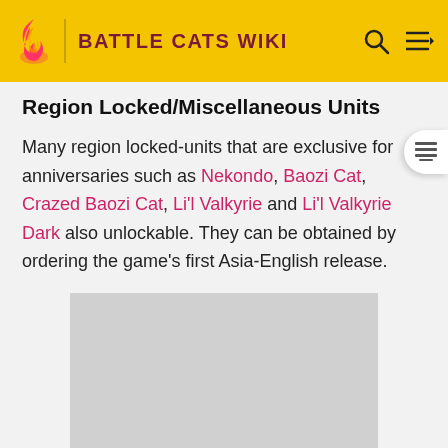BATTLE CATS WIKI
Region Locked/Miscellaneous Units
Many region locked-units that are exclusive for anniversaries such as Nekondo, Baozi Cat, Crazed Baozi Cat, Li'l Valkyrie and Li'l Valkyrie Dark also unlockable. They can be obtained by ordering the game's first Asia-English release.
[Figure (photo): Gray placeholder image block]